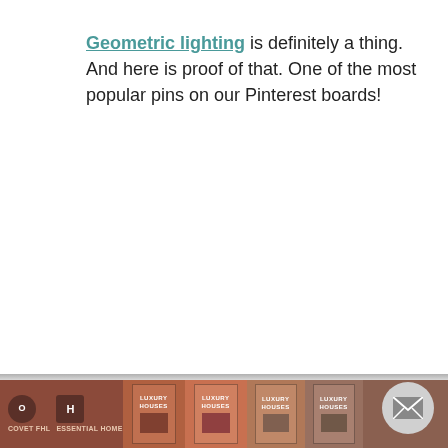Geometric lighting is definitely a thing. And here is proof of that. One of the most popular pins on our Pinterest boards!
BOOK LUXURY HOUSES footer bar with book covers and brand logos